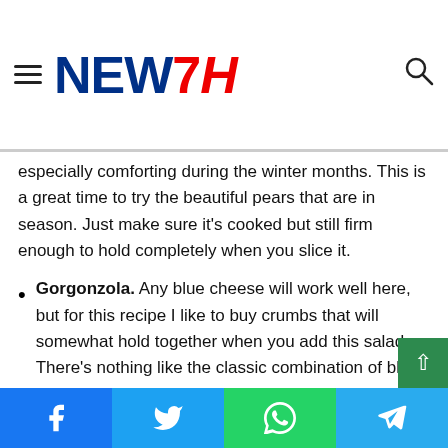NEW7H
especially comforting during the winter months. This is a great time to try the beautiful pears that are in season. Just make sure it's cooked but still firm enough to hold completely when you slice it.
Gorgonzola. Any blue cheese will work well here, but for this recipe I like to buy crumbs that will somewhat hold together when you add this salad. There's nothing like the classic combination of blue cheese and pear at Christmas.
Pomegranate. Sure, I'm using them here mainly for their beautiful red color, but they also give this salad a delicious sweet and sour taste and a pleasant textured
Facebook Twitter WhatsApp Telegram